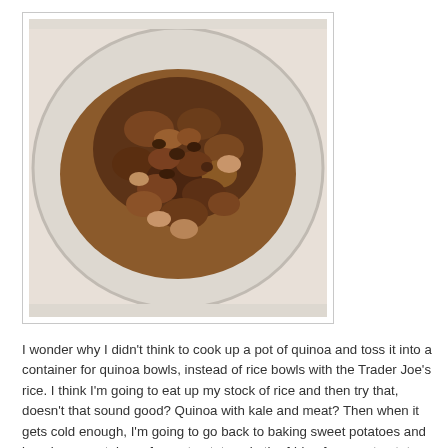[Figure (photo): A photo of cooked ground meat and beans in a clear plastic container, viewed from above. The food is brownish in color, chunky textured.]
I wonder why I didn't think to cook up a pot of quinoa and toss it into a container for quinoa bowls, instead of rice bowls with the Trader Joe's rice. I think I'm going to eat up my stock of rice and then try that, doesn't that sound good? Quinoa with kale and meat? Then when it gets cold enough, I'm going to go back to baking sweet potatoes and keeping a container of sweet potatoes in the fridge for sweet potato bowls.
Anyway. This here fridge. Is stocked with a jar of cut lemons, green tea in the pantry, a half carton of six hardboiled eggs,